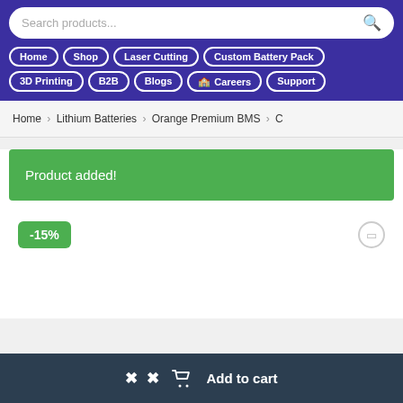Navigation bar with search and menu links
Search products...
Home
Shop
Laser Cutting
Custom Battery Pack
3D Printing
B2B
Blogs
Careers
Support
Home > Lithium Batteries > Orange Premium BMS > C
Product added!
-15%
Add to cart